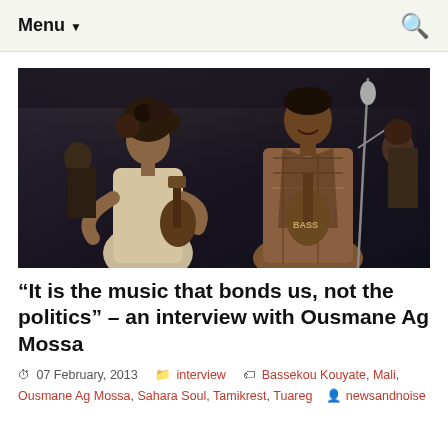Menu ▼
[Figure (photo): Two musicians performing on stage. On the left, a man with curly hair in a light robe. On the right, a taller man in a patterned African garment playing a guitar/ngoni near a microphone. Dark stage background.]
“It is the music that bonds us, not the politics” – an interview with Ousmane Ag Mossa
07 February, 2013   interview   Bassekou Kouyate, Mali, Ousmane Ag Mossa, Sahara Soul, Tamikrest, Tuareg   newsandnoise